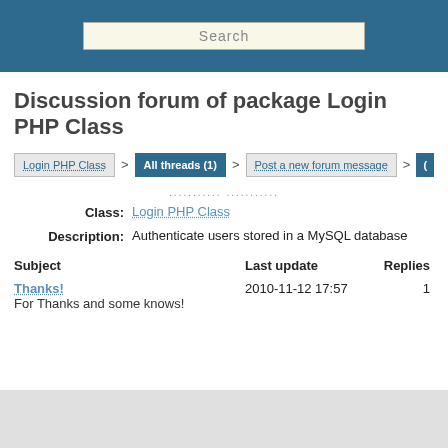Search
Discussion forum of package Login PHP Class
Login PHP Class > All threads (1) > Post a new forum message > (
........... ...........
Class: Login PHP Class
Description: Authenticate users stored in a MySQL database
| Subject | Last update | Replies |
| --- | --- | --- |
| Thanks!
For Thanks and some knows! | 2010-11-12 17:57 | 1 |